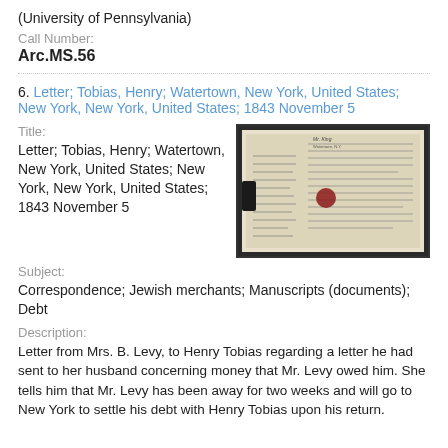(University of Pennsylvania)
Call Number:
Arc.MS.56
6. Letter; Tobias, Henry; Watertown, New York, United States; New York, New York, United States; 1843 November 5
Title:
Letter; Tobias, Henry; Watertown, New York, United States; New York, New York, United States; 1843 November 5
[Figure (photo): Photograph of a historical letter with handwritten text, showing a folded document with a red wax seal.]
Subject:
Correspondence; Jewish merchants; Manuscripts (documents); Debt
Description:
Letter from Mrs. B. Levy, to Henry Tobias regarding a letter he had sent to her husband concerning money that Mr. Levy owed him. She tells him that Mr. Levy has been away for two weeks and will go to New York to settle his debt with Henry Tobias upon his return. A certain Communication written on the back of the letter. A terse in Communication written on the back of the letter it terse letter At terse